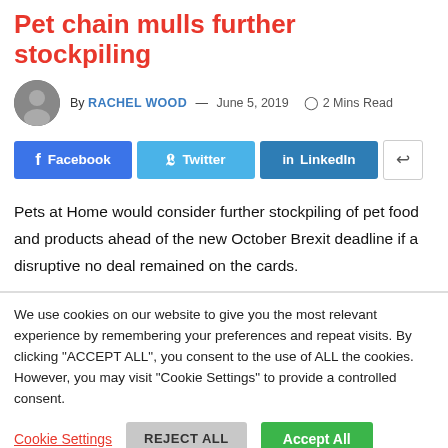Pet chain mulls further stockpiling
By RACHEL WOOD — June 5, 2019  2 Mins Read
[Figure (infographic): Social share buttons: Facebook, Twitter, LinkedIn, and a generic share icon]
Pets at Home would consider further stockpiling of pet food and products ahead of the new October Brexit deadline if a disruptive no deal remained on the cards.
We use cookies on our website to give you the most relevant experience by remembering your preferences and repeat visits. By clicking "ACCEPT ALL", you consent to the use of ALL the cookies. However, you may visit "Cookie Settings" to provide a controlled consent.
Cookie Settings  REJECT ALL  Accept All